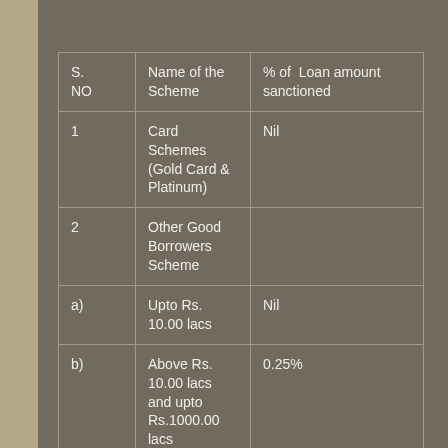| S. NO | Name of the Scheme | % of Loan amount sanctioned |
| --- | --- | --- |
| 1 | Card Schemes (Gold Card & Platinum) | Nil |
| 2 | Other Good Borrowers Scheme |  |
| a) | Upto Rs. 10.00 lacs | Nil |
| b) | Above Rs. 10.00 lacs and upto Rs.1000.00 lacs | 0.25% |
| c) | Above Rs. 1000.00 lacs | 0.50% |